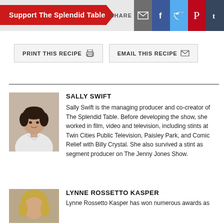Support The Splendid Table | SHARE
PRINT THIS RECIPE | EMAIL THIS RECIPE
SALLY SWIFT
Sally Swift is the managing producer and co-creator of The Splendid Table. Before developing the show, she worked in film, video and television, including stints at Twin Cities Public Television, Paisley Park, and Comic Relief with Billy Crystal. She also survived a stint as segment producer on The Jenny Jones Show.
LYNNE ROSSETTO KASPER
Lynne Rossetto Kasper has won numerous awards as